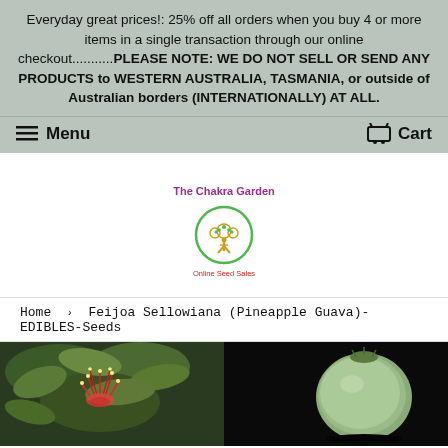Everyday great prices!: 25% off all orders when you buy 4 or more items in a single transaction through our online checkout..........PLEASE NOTE: WE DO NOT SELL OR SEND ANY PRODUCTS to WESTERN AUSTRALIA, TASMANIA, or outside of Australian borders (INTERNATIONALLY) AT ALL.
Menu
Cart
[Figure (logo): The Chakra Garden Online Seed Sales logo - circular green border with yellow tree figure, text 'The Chakra Garden' in purple above and 'Online Seed Sales' in red below]
Home › Feijoa Sellowiana (Pineapple Guava)-EDIBLES-Seeds
[Figure (photo): Two photos of Feijoa Sellowiana (Pineapple Guava) plant - left shows red stamens and green leaves, right shows a round guava fruit on dark background]